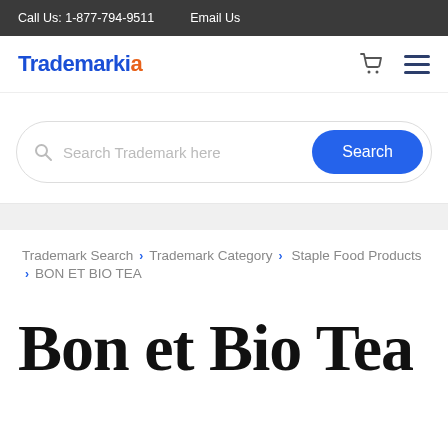Call Us: 1-877-794-9511    Email Us
[Figure (logo): Trademarkia logo with blue text and orange dot, plus cart and hamburger menu icons]
[Figure (screenshot): Search bar with placeholder 'Search Trademark here' and blue Search button]
Trademark Search > Trademark Category > Staple Food Products > BON ET BIO TEA
Bon et Bio Tea